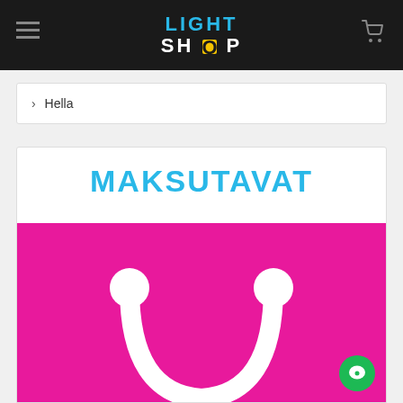LIGHT SHOP
> Hella
MAKSUTAVAT
[Figure (logo): Pink background with white smile/shopping bag handle shape — payment methods page graphic]